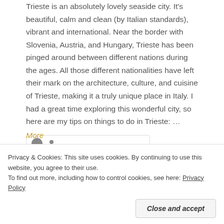Trieste is an absolutely lovely seaside city. It's beautiful, calm and clean (by Italian standards), vibrant and international. Near the border with Slovenia, Austria, and Hungary, Trieste has been pinged around between different nations during the ages. All those different nationalities have left their mark on the architecture, culture, and cuisine of Trieste, making it a truly unique place in Italy. I had a great time exploring this wonderful city, so here are my tips on things to do in Trieste: … More
Privacy & Cookies: This site uses cookies. By continuing to use this website, you agree to their use. To find out more, including how to control cookies, see here: Privacy Policy
Close and accept